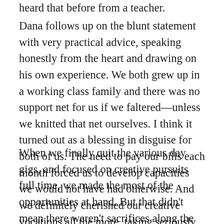heard that before from a teacher.
Dana follows up on the blunt statement with very practical advice, speaking honestly from the heart and drawing on his own experience. We both grew up in a working class family and there was no support net for us if we faltered—unless we knitted that net ourselves. I think it turned out as a blessing in disguise for both of us. The need to pay our bills each month forced us to develop capacities we would not have had otherwise. And we definitely cherished our creative vocations all the more, taking seriously every hour we could devote to them, because we never took that time for granted.
When we finally quit the various day gigs, and focused on creative pursuits full time, we made the most of the opportunities at hand. But that didn't mean there weren't sacrifices along the way. Some of those